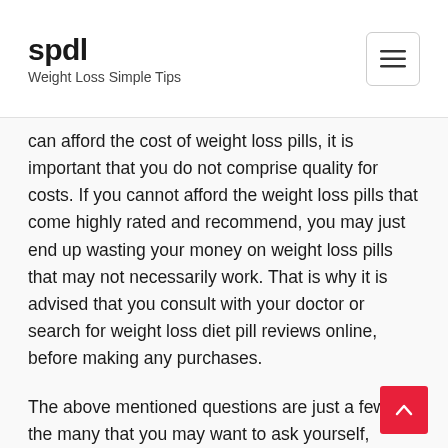spdl
Weight Loss Simple Tips
can afford the cost of weight loss pills, it is important that you do not comprise quality for costs. If you cannot afford the weight loss pills that come highly rated and recommend, you may just end up wasting your money on weight loss pills that may not necessarily work. That is why it is advised that you consult with your doctor or search for weight loss diet pill reviews online, before making any purchases.
The above mentioned questions are just a few of the many that you may want to ask yourself, before you automatically go out and buy weight loss pills for yourself. As a reminder, it is important that you do the proper amount of research before you buy weight loss pills, should you decide to do so. Weight loss diet pills are not all created equally; therefore, they have varying results.